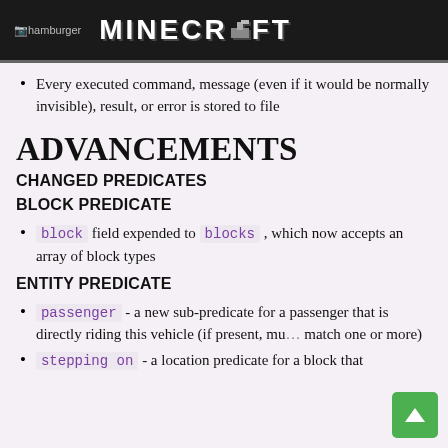hamburger MINECRAFT
Every executed command, message (even if it would be normally invisible), result, or error is stored to file
ADVANCEMENTS
CHANGED PREDICATES
BLOCK PREDICATE
block field expended to blocks, which now accepts an array of block types
ENTITY PREDICATE
passenger - a new sub-predicate for a passenger that is directly riding this vehicle (if present, must match one or more)
stepping on - a location predicate for a block that